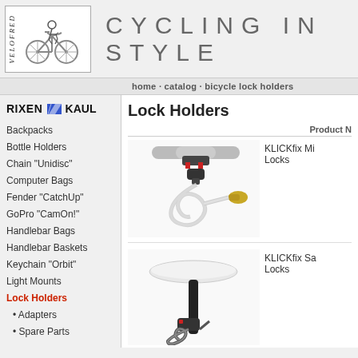[Figure (logo): Velofred logo with cyclist illustration and brand name]
CYCLING IN STYLE
home · catalog · bicycle lock holders
[Figure (logo): RIXEN KAUL brand logo with blue parallelogram]
Backpacks
Bottle Holders
Chain "Unidisc"
Computer Bags
Fender "CatchUp"
GoPro "CamOn!"
Handlebar Bags
Handlebar Baskets
Keychain "Orbit"
Light Mounts
Lock Holders
• Adapters
• Spare Parts
Map Holders
Panniers
Lock Holders
Product N
[Figure (photo): KLICKfix Mi Locks - handlebar mounted cable lock with brass key lock end]
KLICKfix Mi
Locks
[Figure (photo): KLICKfix Sa Locks - seat post mounted coil cable lock]
KLICKfix Sa
Locks